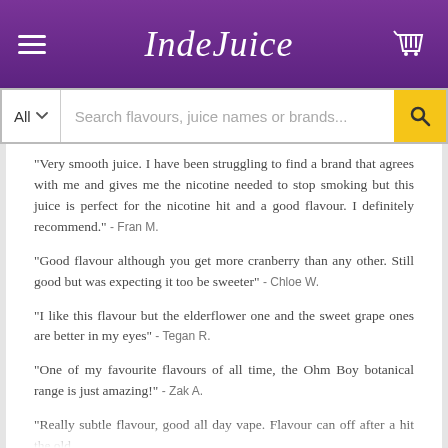IndeJuice
Search flavours, juice names or brands...
"Very smooth juice. I have been struggling to find a brand that agrees with me and gives me the nicotine needed to stop smoking but this juice is perfect for the nicotine hit and a good flavour. I definitely recommend." - Fran M.
"Good flavour although you get more cranberry than any other. Still good but was expecting it too be sweeter" - Chloe W.
"I like this flavour but the elderflower one and the sweet grape ones are better in my eyes" - Tegan R.
"One of my favourite flavours of all time, the Ohm Boy botanical range is just amazing!" - Zak A.
"Really subtle flavour, good all day vape. Flavour can off after a hit the old...